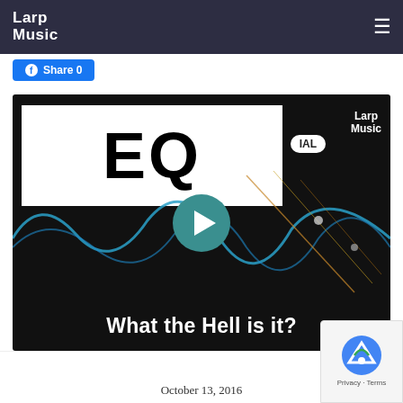Larp Music
[Figure (screenshot): Facebook share button]
[Figure (screenshot): Video thumbnail showing EQ (Equalizer) tutorial titled 'What the Hell is it?' with a play button, waveform visualization, and Larp Music branding]
October 13, 2016